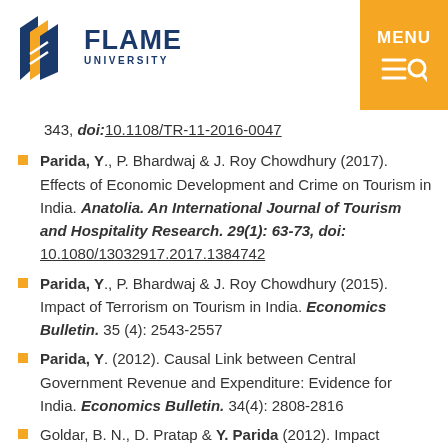FLAME UNIVERSITY — MENU
343, doi:10.1108/TR-11-2016-0047
Parida, Y., P. Bhardwaj & J. Roy Chowdhury (2017). Effects of Economic Development and Crime on Tourism in India. Anatolia. An International Journal of Tourism and Hospitality Research. 29(1): 63-73, doi: 10.1080/13032917.2017.1384742
Parida, Y., P. Bhardwaj & J. Roy Chowdhury (2015). Impact of Terrorism on Tourism in India. Economics Bulletin. 35 (4): 2543-2557
Parida, Y. (2012). Causal Link between Central Government Revenue and Expenditure: Evidence for India. Economics Bulletin. 34(4): 2808-2816
Goldar, B. N., D. Pratap & Y. Parida (2012). Impact